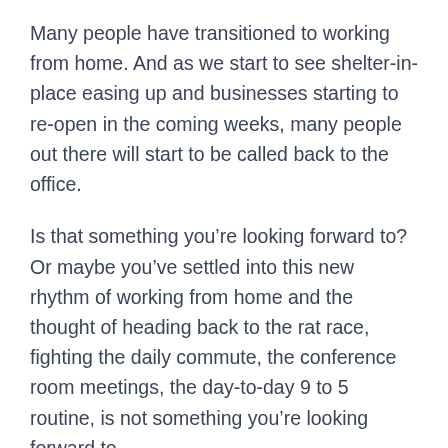Many people have transitioned to working from home. And as we start to see shelter-in-place easing up and businesses starting to re-open in the coming weeks, many people out there will start to be called back to the office.
Is that something you're looking forward to? Or maybe you've settled into this new rhythm of working from home and the thought of heading back to the rat race, fighting the daily commute, the conference room meetings, the day-to-day 9 to 5 routine, is not something you're looking forward to.